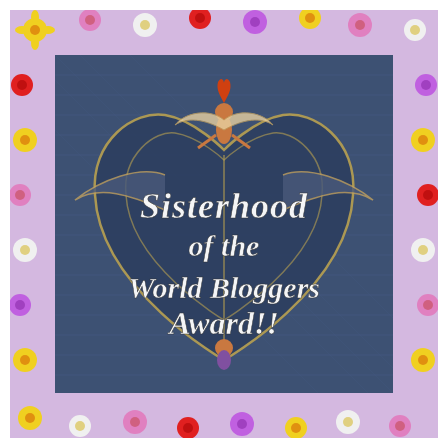[Figure (illustration): Award badge image: a denim jeans heart shape with a fairy/butterfly figure on top, surrounded by colorful daisies and flowers (pink, yellow, red, white, purple) as a border. Text in white decorative font reads 'Sisterhood of the World Bloggers Award!!']